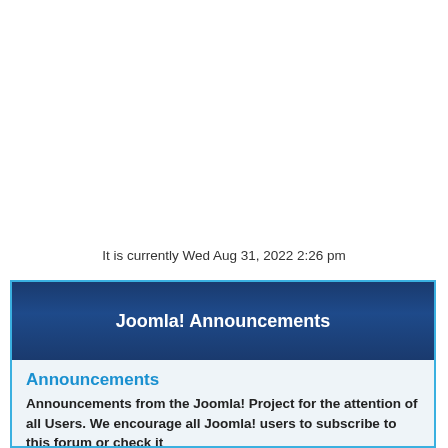It is currently Wed Aug 31, 2022 2:26 pm
Joomla! Announcements
Announcements
Announcements from the Joomla! Project for the attention of all Users. We encourage all Joomla! users to subscribe to this forum or check it